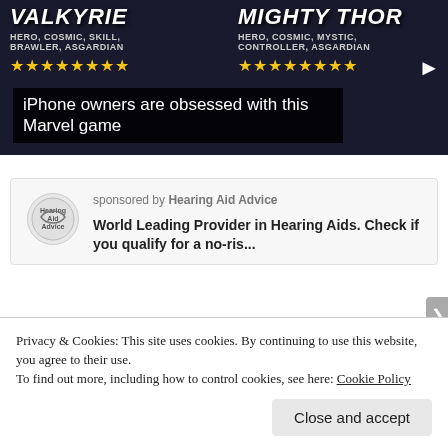[Figure (screenshot): Marvel game advertisement banner showing Valkyrie and Mighty Thor characters with star ratings and hero attributes listed]
iPhone owners are obsessed with this Marvel game
[Figure (screenshot): Sponsored advertisement card for Hearing Aid Advice showing logo and description: World Leading Provider in Hearing Aids. Check if you qualify for a no-ris...]
[Figure (photo): Blurred/partial image strip below the Hearing Aid Advice advertisement]
Privacy & Cookies: This site uses cookies. By continuing to use this website, you agree to their use.
To find out more, including how to control cookies, see here: Cookie Policy
Close and accept